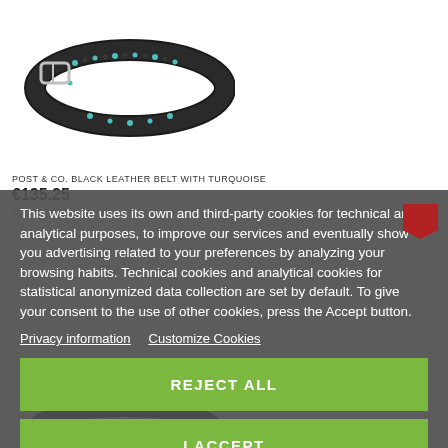[Figure (photo): Black leather belt with turquoise floral cutout detailing and silver buckle, coiled on white background]
POST & CO. BLACK LEATHER BELT WITH TURQUOISE
€135.25
Choose size
This website uses its own and third-party cookies for technical and analytical purposes, to improve our services and eventually show you advertising related to your preferences by analyzing your browsing habits. Technical cookies and analytical cookies for statistical anonymized data collection are set by default. To give your consent to the use of other cookies, press the Accept button.
Privacy information    Customize Cookies
REJECT ALL
I ACCEPT
[Figure (photo): Partial view of another black leather belt product at bottom of page]